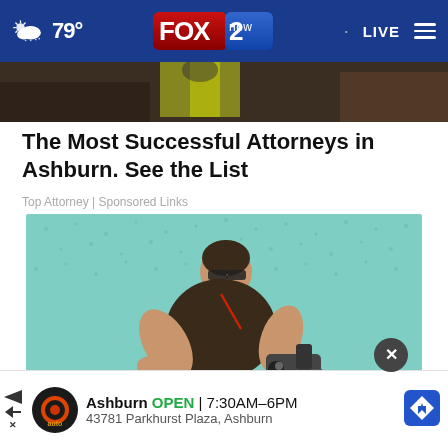79° FOX 2 now LIVE
[Figure (photo): Top partial image strip showing construction workers in background]
The Most Successful Attorneys in Ashburn. See the List
Top Attorney | Sponsored Links
[Figure (photo): A man wearing sunglasses and a brown shirt using a nail gun on a roof, with a teal dotted background]
Ashburn OPEN 7:30AM–6PM 43781 Parkhurst Plaza, Ashburn